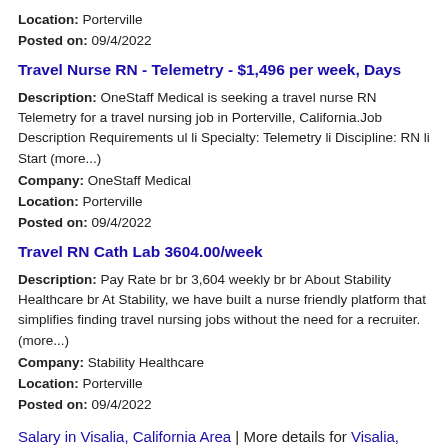Location: Porterville
Posted on: 09/4/2022
Travel Nurse RN - Telemetry - $1,496 per week, Days
Description: OneStaff Medical is seeking a travel nurse RN Telemetry for a travel nursing job in Porterville, California.Job Description Requirements ul li Specialty: Telemetry li Discipline: RN li Start (more...)
Company: OneStaff Medical
Location: Porterville
Posted on: 09/4/2022
Travel RN Cath Lab 3604.00/week
Description: Pay Rate br br 3,604 weekly br br About Stability Healthcare br At Stability, we have built a nurse friendly platform that simplifies finding travel nursing jobs without the need for a recruiter. (more...)
Company: Stability Healthcare
Location: Porterville
Posted on: 09/4/2022
Salary in Visalia, California Area | More details for Visalia, California Jobs |Salary